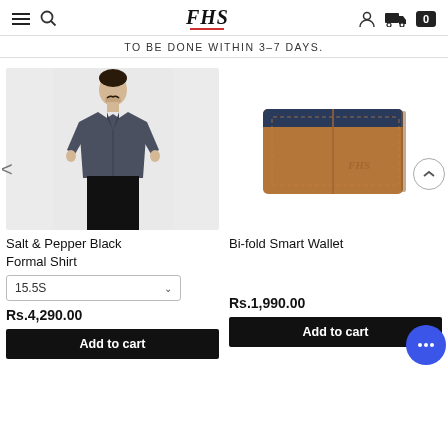FHS (logo with hamburger, search, person, truck, cart icons)
TO BE DONE WITHIN 3-7 DAYS.
[Figure (photo): Man wearing a dark grey/slate formal shirt with black trousers, standing against light grey background]
[Figure (photo): Brown tan leather bi-fold wallet with dark navy interior, showing FHS branding, on white background]
Salt & Pepper Black Formal Shirt
Bi-fold Smart Wallet
15.5S
Rs.4,290.00
Rs.1,990.00
Add to cart
Add to cart